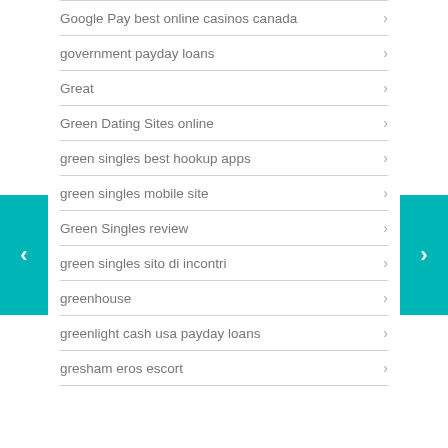Google Pay best online casinos canada
government payday loans
Great
Green Dating Sites online
green singles best hookup apps
green singles mobile site
Green Singles review
green singles sito di incontri
greenhouse
greenlight cash usa payday loans
gresham eros escort